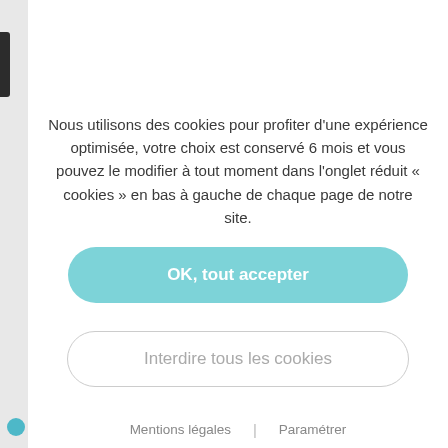Nous utilisons des cookies pour profiter d'une expérience optimisée, votre choix est conservé 6 mois et vous pouvez le modifier à tout moment dans l'onglet réduit « cookies » en bas à gauche de chaque page de notre site.
OK, tout accepter
Interdire tous les cookies
Mentions légales | Paramétrer